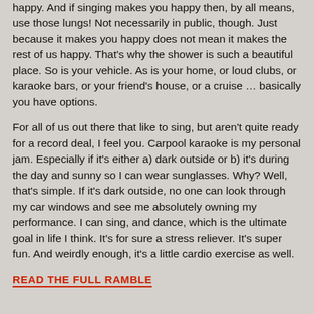happy. And if singing makes you happy then, by all means, use those lungs! Not necessarily in public, though. Just because it makes you happy does not mean it makes the rest of us happy. That's why the shower is such a beautiful place. So is your vehicle. As is your home, or loud clubs, or karaoke bars, or your friend's house, or a cruise … basically you have options.
For all of us out there that like to sing, but aren't quite ready for a record deal, I feel you. Carpool karaoke is my personal jam. Especially if it's either a) dark outside or b) it's during the day and sunny so I can wear sunglasses. Why? Well, that's simple. If it's dark outside, no one can look through my car windows and see me absolutely owning my performance. I can sing, and dance, which is the ultimate goal in life I think. It's for sure a stress reliever. It's super fun. And weirdly enough, it's a little cardio exercise as well.
READ THE FULL RAMBLE